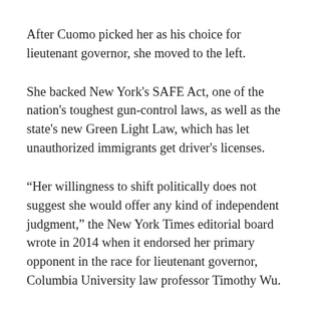After Cuomo picked her as his choice for lieutenant governor, she moved to the left.
She backed New York's SAFE Act, one of the nation's toughest gun-control laws, as well as the state's new Green Light Law, which has let unauthorized immigrants get driver's licenses.
“Her willingness to shift politically does not suggest she would offer any kind of independent judgment,” the New York Times editorial board wrote in 2014 when it endorsed her primary opponent in the race for lieutenant governor, Columbia University law professor Timothy Wu.
Hochul won that race, then won again in a close contest in 2018 against then-New York City Council member Jumaane Williams as the city’s public advocate.